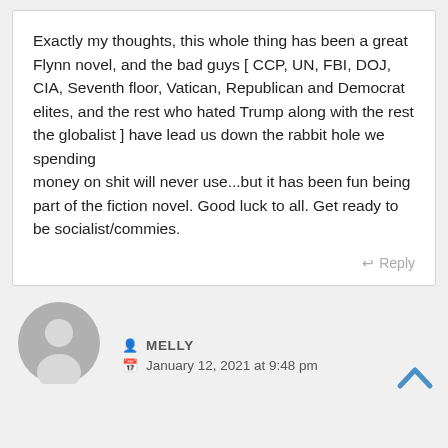Exactly my thoughts, this whole thing has been a great Flynn novel, and the bad guys [ CCP, UN, FBI, DOJ, CIA, Seventh floor, Vatican, Republican and Democrat elites, and the rest who hated Trump along with the rest the globalist ] have lead us down the rabbit hole we spending
money on shit will never use...but it has been fun being part of the fiction novel. Good luck to all. Get ready to be socialist/commies.
Reply
[Figure (illustration): Generic grey user avatar icon showing a person silhouette]
MELLY
January 12, 2021 at 9:48 pm